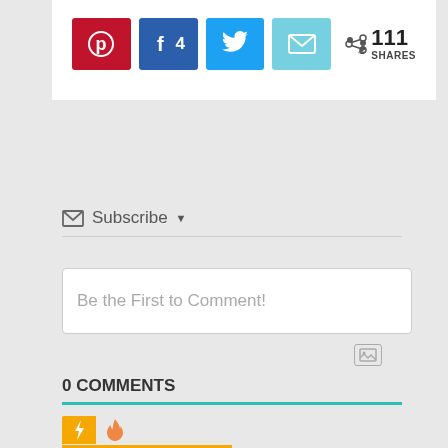[Figure (screenshot): Social share buttons: Pinterest (red), Facebook with count 4 (blue), Twitter (blue), Email (light blue), and share count showing 111 SHARES]
Subscribe ▾
Be the First to Comment!
0 COMMENTS